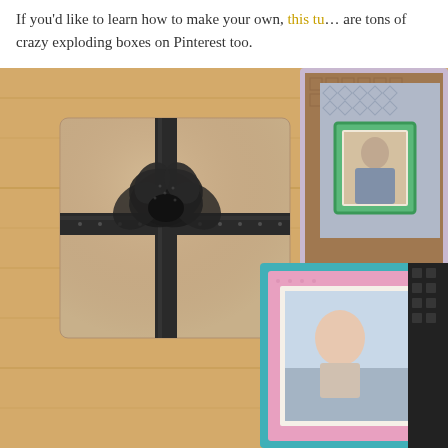If you'd like to learn how to make your own, this tu… are tons of crazy exploding boxes on Pinterest too.
[Figure (photo): Top-down photo on a wooden table showing a kraft paper gift box tied with a black polka-dot ribbon and bow on the left, and two open decorative exploding gift boxes on the right — one with a green ornate frame holding a wedding photo and patterned scrapbook paper, and one teal/pink box with a photo of a baby and striped/geometric patterned paper.]